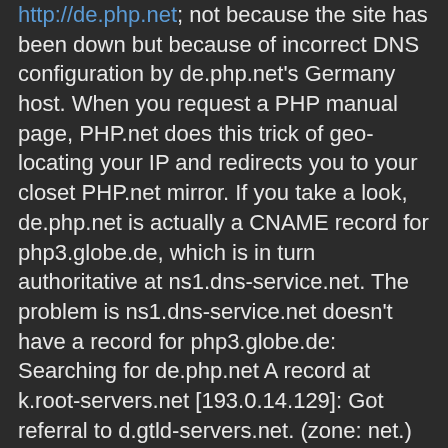http://de.php.net; not because the site has been down but because of incorrect DNS configuration by de.php.net's Germany host. When you request a PHP manual page, PHP.net does this trick of geo-locating your IP and redirects you to your closet PHP.net mirror. If you take a look, de.php.net is actually a CNAME record for php3.globe.de, which is in turn authoritative at ns1.dns-service.net. The problem is ns1.dns-service.net doesn't have a record for php3.globe.de: Searching for de.php.net A record at k.root-servers.net [193.0.14.129]: Got referral to d.gtld-servers.net. (zone: net.) [took 48 ms] Searching for de.php.net A record at d.gtld-servers.net. [192.31.80.30]: Got referral to ns1.easydns.com. (zone: php.net.) [took 42 ms] Searching for de.php.net A record at ns1.easydns.com. [216.220.40.243]: Got CNAME